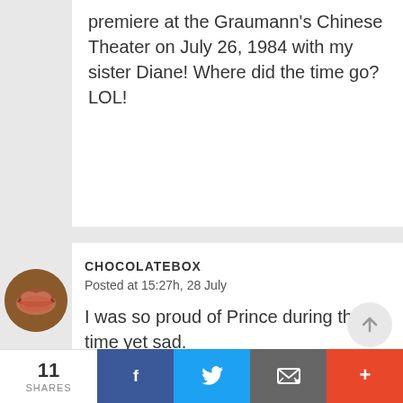premiere at the Graumann's Chinese Theater on July 26, 1984 with my sister Diane! Where did the time go? LOL!
[Figure (photo): Circular avatar photo showing a person's lips/mouth close-up]
CHOCOLATEBOX
Posted at 15:27h, 28 July
I was so proud of Prince during this time yet sad.
11 SHARES | Facebook | Twitter | Email | More